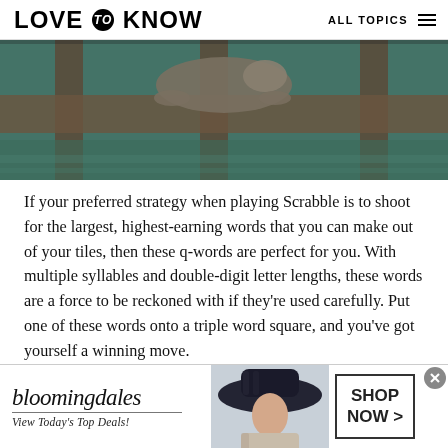LOVE to KNOW | ALL TOPICS
[Figure (photo): A seal or sea lion photographed through wooden dock planks, with water visible in the background, dark teal/blue-green tones]
If your preferred strategy when playing Scrabble is to shoot for the largest, highest-earning words that you can make out of your tiles, then these q-words are perfect for you. With multiple syllables and double-digit letter lengths, these words are a force to be reckoned with if they're used carefully. Put one of these words onto a triple word square, and you've got yourself a winning move.
[Figure (photo): Bloomingdale's advertisement banner with logo, 'View Today's Top Deals!' tagline, a woman in a large hat, and a SHOP NOW button]